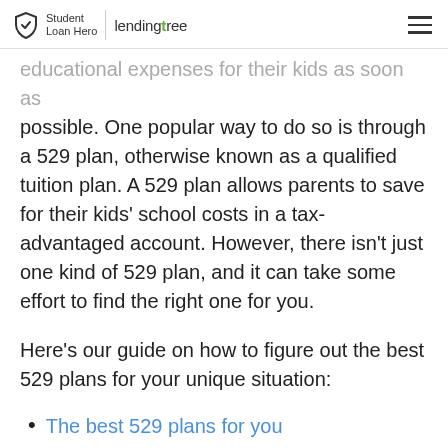Student Loan Hero | lendingtree
educational expenses for their kids as soon as possible. One popular way to do so is through a 529 plan, otherwise known as a qualified tuition plan. A 529 plan allows parents to save for their kids' school costs in a tax-advantaged account. However, there isn't just one kind of 529 plan, and it can take some effort to find the right one for you.
Here's our guide on how to figure out the best 529 plans for your unique situation:
The best 529 plans for you
Construct your ideal savings plan